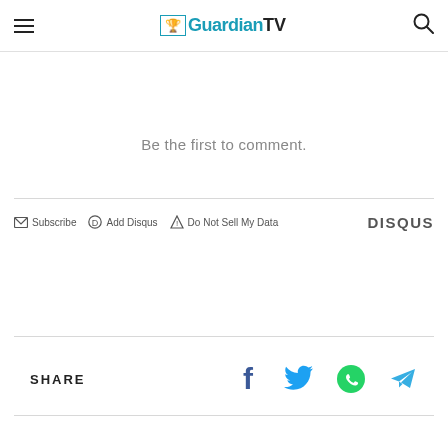GuardianTV
Be the first to comment.
Subscribe  Add Disqus  Do Not Sell My Data  DISQUS
SHARE